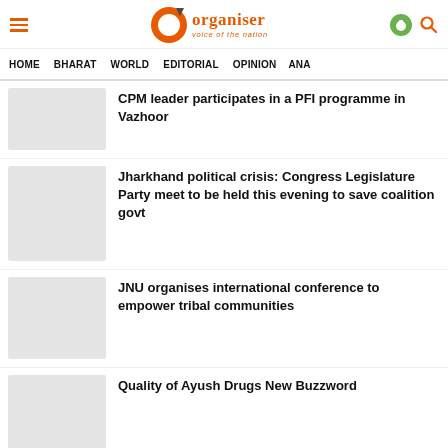Organiser - Voice of the Nation
HOME   BHARAT   WORLD   EDITORIAL   OPINION   ANA
CPM leader participates in a PFI programme in Vazhoor
Jharkhand political crisis: Congress Legislature Party meet to be held this evening to save coalition govt
JNU organises international conference to empower tribal communities
Quality of Ayush Drugs New Buzzword